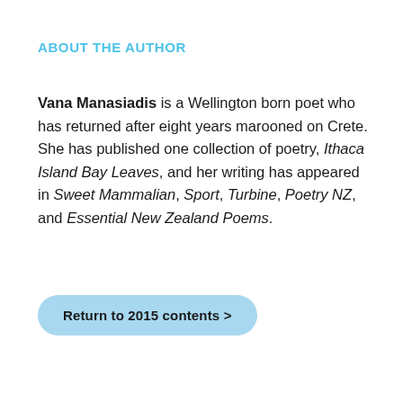ABOUT THE AUTHOR
Vana Manasiadis is a Wellington born poet who has returned after eight years marooned on Crete. She has published one collection of poetry, Ithaca Island Bay Leaves, and her writing has appeared in Sweet Mammalian, Sport, Turbine, Poetry NZ, and Essential New Zealand Poems.
Return to 2015 contents >